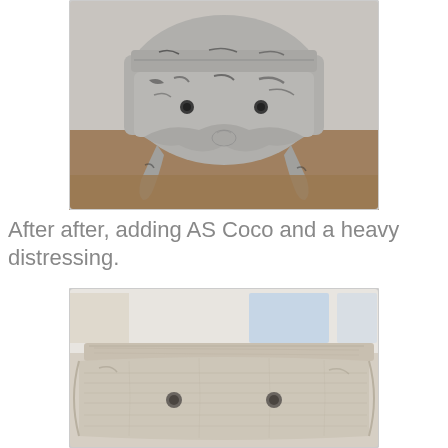[Figure (photo): A chest of drawers painted in pale gray chalk paint with heavy black distressing, showing worn edges and peeling paint, ornate carved legs and decorative apron, photographed on a textured carpet]
After after, adding AS Coco and a heavy distressing.
[Figure (photo): A close-up of a dresser drawer painted in AS Coco chalk paint with heavy distressing, showing a weathered wood grain effect in light beige/gray tones, with two small round knobs, photographed in a bright interior space]